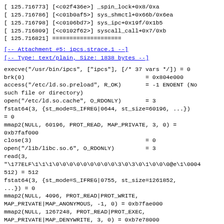[ 125.716773] [<c02f436e>] _spin_lock+0x8/0xa
[ 125.716786] [<c01b0af5>] sys_shmctl+0x66b/0x6ea
[ 125.716798] [<c0106bd7>] sys_ipc+0x19f/0x1b5
[ 125.716809] [<c0102f62>] syscall_call+0x7/0xb
[ 125.716821] ====================
[-- Attachment #5: ipcs.strace.1 --]
[-- Type: text/plain, Size: 1838 bytes --]
execve("/usr/bin/ipcs", ["ipcs"], [/* 37 vars */]) = 0
brk(0)                                   = 0x804e000
access("/etc/ld.so.preload", R_OK)       = -1 ENOENT (No
such file or directory)
open("/etc/ld.so.cache", O_RDONLY)       = 3
fstat64(3, {st_mode=S_IFREG|0644, st_size=60196, ...})
= 0
mmap2(NULL, 60196, PROT_READ, MAP_PRIVATE, 3, 0) =
0xb7faf000
close(3)                                 = 0
open("/lib/libc.so.6", O_RDONLY)         = 3
read(3,
"\177ELF\1\1\1\0\0\0\0\0\0\0\0\0\3\0\3\0\1\0\0\0@e\1\0004
512) = 512
fstat64(3, {st_mode=S_IFREG|0755, st_size=1261852,
...}) = 0
mmap2(NULL, 4096, PROT_READ|PROT_WRITE,
MAP_PRIVATE|MAP_ANONYMOUS, -1, 0) = 0xb7fae000
mmap2(NULL, 1267248, PROT_READ|PROT_EXEC,
MAP_PRIVATE|MAP_DENYWRITE, 3, 0) = 0xb7e78000
mmap2(0xb7fa8000, 12288, PROT_READ|PROT_WRITE,